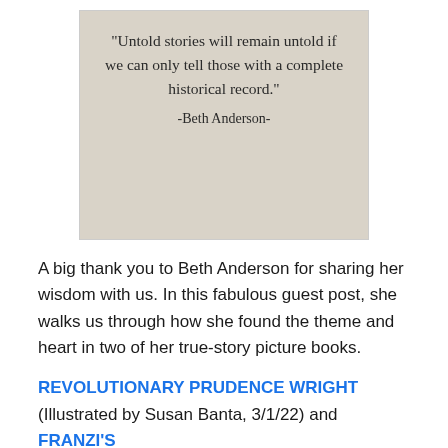[Figure (illustration): A quote image on a beige/stone textured background with cursive handwritten text reading: "Untold stories will remain untold if we can only tell those with a complete historical record." -Beth Anderson-]
A big thank you to Beth Anderson for sharing her wisdom with us. In this fabulous guest post, she walks us through how she found the theme and heart in two of her true-story picture books.
REVOLUTIONARY PRUDENCE WRIGHT (Illustrated by Susan Banta, 3/1/22) and FRANZI'S